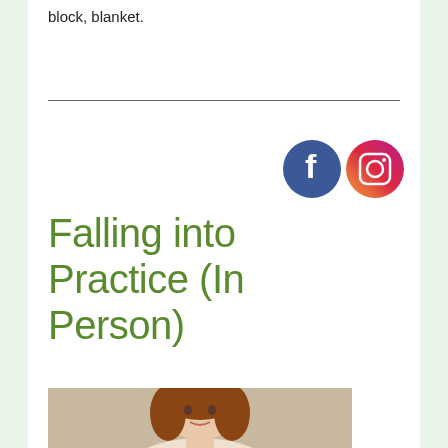block, blanket.
[Figure (other): Facebook and Instagram social media icons]
Falling into Practice (In Person)
[Figure (photo): Portrait photo of a woman with reddish-brown hair against a neutral background]